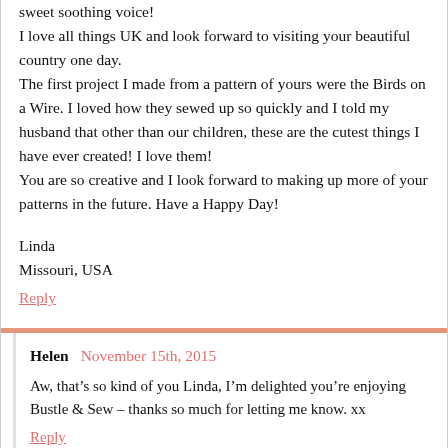sweet soothing voice!
I love all things UK and look forward to visiting your beautiful country one day.
The first project I made from a pattern of yours were the Birds on a Wire. I loved how they sewed up so quickly and I told my husband that other than our children, these are the cutest things I have ever created! I love them!
You are so creative and I look forward to making up more of your patterns in the future. Have a Happy Day!
Linda
Missouri, USA
Reply
Helen  November 15th, 2015
Aw, that’s so kind of you Linda, I’m delighted you’re enjoying Bustle & Sew – thanks so much for letting me know. xx
Reply